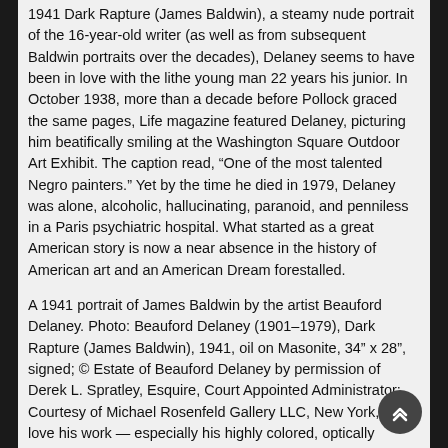1941 Dark Rapture (James Baldwin), a steamy nude portrait of the 16-year-old writer (as well as from subsequent Baldwin portraits over the decades), Delaney seems to have been in love with the lithe young man 22 years his junior. In October 1938, more than a decade before Pollock graced the same pages, Life magazine featured Delaney, picturing him beatifically smiling at the Washington Square Outdoor Art Exhibit. The caption read, “One of the most talented Negro painters.” Yet by the time he died in 1979, Delaney was alone, alcoholic, hallucinating, paranoid, and penniless in a Paris psychiatric hospital. What started as a great American story is now a near absence in the history of American art and an American Dream forestalled.
A 1941 portrait of James Baldwin by the artist Beauford Delaney. Photo: Beauford Delaney (1901–1979), Dark Rapture (James Baldwin), 1941, oil on Masonite, 34” x 28”, signed; © Estate of Beauford Delaney by permission of Derek L. Spratley, Esquire, Court Appointed Administrator; Courtesy of Michael Rosenfeld Gallery LLC, New York, NY I love his work — especially his highly colored, optically intense, dense figurative paintings. He is almost an exact contemporary of, and the New York counterpart to, another great painter-portraitist, an artist who captured the power and magic of being poor stylishly, who lived on the margins but eventually came to be recognized as a visionary: Alice Neel. Delaney should be regarded as such as